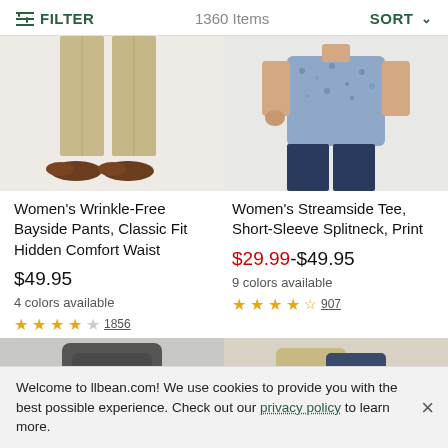FILTER   1360 Items   SORT
[Figure (photo): Bottom half of khaki pants with brown loafers on a model]
[Figure (photo): Woman wearing floral short-sleeve splitneck tee with navy pants]
Women's Wrinkle-Free Bayside Pants, Classic Fit Hidden Comfort Waist
Women's Streamside Tee, Short-Sleeve Splitneck, Print
$49.95
$29.99-$49.95
4 colors available
9 colors available
★★★★☆ 1856
★★★★½ 907
[Figure (photo): Dark grey long-sleeve shirt product image]
[Figure (photo): Tan and navy jacket product image with TOP back-to-top button]
Welcome to llbean.com! We use cookies to provide you with the best possible experience. Check out our privacy policy to learn more.